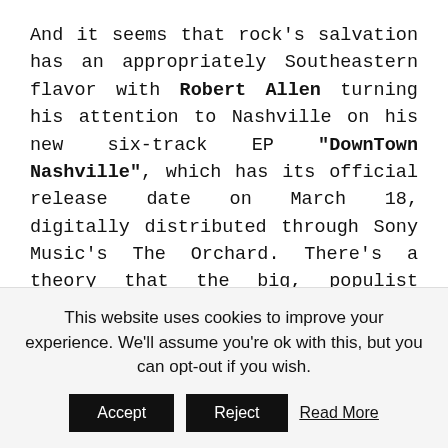And it seems that rock's salvation has an appropriately Southeastern flavor with Robert Allen turning his attention to Nashville on his new six-track EP "DownTown Nashville", which has its official release date on March 18, digitally distributed through Sony Music's The Orchard. There's a theory that the big, populist working-class rock of the seventies and eighties (Springsteen, Mellencamp, Petty, Seger) hasn't died out – it's just gone country. DownTown Mystic hasn't exactly gone country on "DownTown Nashville" but they've thrown in a couple of its root ingredients to back up the
This website uses cookies to improve your experience. We'll assume you're ok with this, but you can opt-out if you wish.